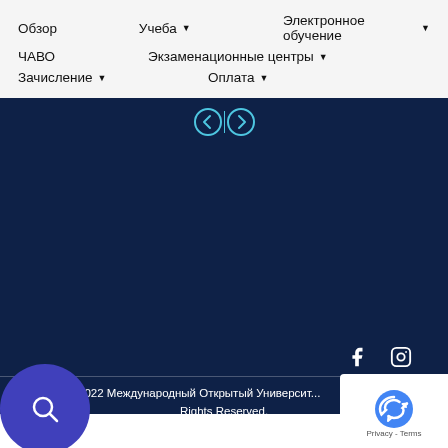Обзор | Учеба ▼ | Электронное обучение ▼ | ЧАВО | Экзаменационные центры ▼ | Зачисление ▼ | Оплата ▼
[Figure (screenshot): Dark blue section with navigation arrows (left and right circle arrows with divider), large dark blue content area, social media icons (Facebook, Instagram), footer with copyright text and reCAPTCHA badge, search button overlay]
Copyright © 2022 Международный Открытый Университет Rights Reserved.